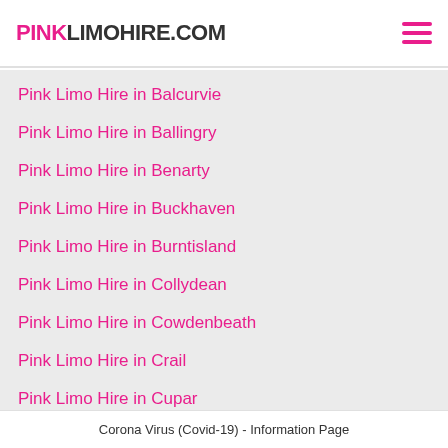[Figure (logo): PINKLIMOHIRE.COM logo in pink and dark text, with hamburger menu icon on the right]
Pink Limo Hire in Balcurvie
Pink Limo Hire in Ballingry
Pink Limo Hire in Benarty
Pink Limo Hire in Buckhaven
Pink Limo Hire in Burntisland
Pink Limo Hire in Collydean
Pink Limo Hire in Cowdenbeath
Pink Limo Hire in Crail
Pink Limo Hire in Cupar
Corona Virus (Covid-19) - Information Page